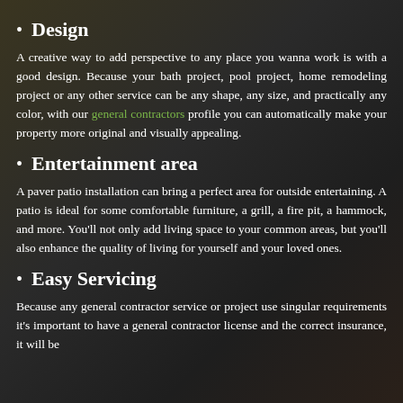Design
A creative way to add perspective to any place you wanna work is with a good design. Because your bath project, pool project, home remodeling project or any other service can be any shape, any size, and practically any color, with our general contractors profile you can automatically make your property more original and visually appealing.
Entertainment area
A paver patio installation can bring a perfect area for outside entertaining. A patio is ideal for some comfortable furniture, a grill, a fire pit, a hammock, and more. You'll not only add living space to your common areas, but you'll also enhance the quality of living for yourself and your loved ones.
Easy Servicing
Because any general contractor service or project use singular requirements it's important to have a general contractor license and the correct insurance, it will be